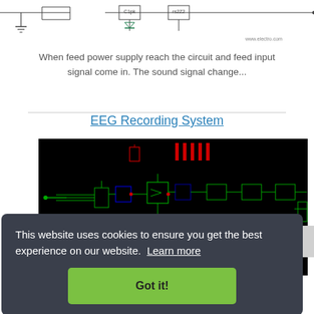[Figure (circuit-diagram): Partial circuit schematic diagram visible at top of page, showing components with connecting lines, on white background with www.electro.com watermark]
When feed power supply reach the circuit and feed input signal come in. The sound signal change...
EEG Recording System
[Figure (circuit-diagram): EEG Recording System circuit schematic on black background showing green circuit traces, components and connections]
This website uses cookies to ensure you get the best experience on our website. Learn more
Got it!
... monitoring will brain ability to see through understanding neural substrates of many...